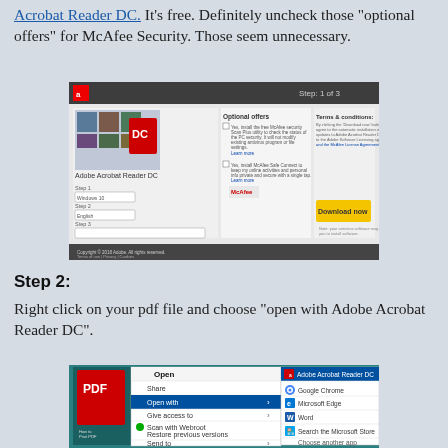Acrobat Reader DC. It's free. Definitely uncheck those "optional offers" for McAfee Security. Those seem unnecessary.
[Figure (screenshot): Screenshot of Adobe Acrobat Reader DC download page showing Step 1 of 3, with Optional offers section (McAfee checkboxes) and Terms & conditions, with a yellow Download now button]
Step 2:
Right click on your pdf file and choose "open with Adobe Acrobat Reader DC".
[Figure (screenshot): Screenshot of Windows right-click context menu on a PDF file showing Open, Share, Open with (submenu showing Adobe Acrobat Reader DC highlighted, Google Chrome, Microsoft Edge, Word, Search the Microsoft Store, Choose another app), Give access to, Scan with Webroot, Restore previous versions, Send to]